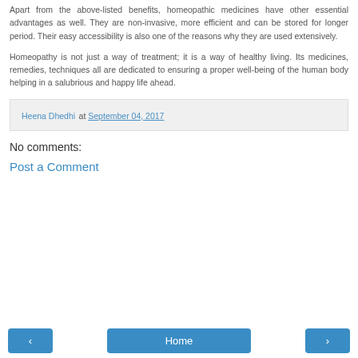Apart from the above-listed benefits, homeopathic medicines have other essential advantages as well. They are non-invasive, more efficient and can be stored for longer period. Their easy accessibility is also one of the reasons why they are used extensively.
Homeopathy is not just a way of treatment; it is a way of healthy living. Its medicines, remedies, techniques all are dedicated to ensuring a proper well-being of the human body helping in a salubrious and happy life ahead.
Heena Dhedhi at September 04, 2017
No comments:
Post a Comment
◂  Home  ▸